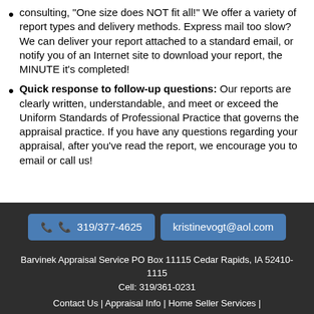consulting, "One size does NOT fit all!" We offer a variety of report types and delivery methods. Express mail too slow? We can deliver your report attached to a standard email, or notify you of an Internet site to download your report, the MINUTE it's completed!
Quick response to follow-up questions: Our reports are clearly written, understandable, and meet or exceed the Uniform Standards of Professional Practice that governs the appraisal practice. If you have any questions regarding your appraisal, after you've read the report, we encourage you to email or call us!
319/377-4625  kristinevogt@aol.com  Barvinek Appraisal Service PO Box 11115 Cedar Rapids, IA 52410-1115  Cell: 319/361-0231  Contact Us | Appraisal Info | Home Seller Services |